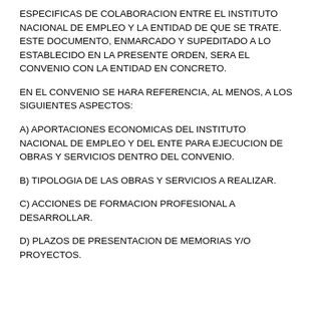ESPECIFICAS DE COLABORACION ENTRE EL INSTITUTO NACIONAL DE EMPLEO Y LA ENTIDAD DE QUE SE TRATE. ESTE DOCUMENTO, ENMARCADO Y SUPEDITADO A LO ESTABLECIDO EN LA PRESENTE ORDEN, SERA EL CONVENIO CON LA ENTIDAD EN CONCRETO.
EN EL CONVENIO SE HARA REFERENCIA, AL MENOS, A LOS SIGUIENTES ASPECTOS:
A) APORTACIONES ECONOMICAS DEL INSTITUTO NACIONAL DE EMPLEO Y DEL ENTE PARA EJECUCION DE OBRAS Y SERVICIOS DENTRO DEL CONVENIO.
B) TIPOLOGIA DE LAS OBRAS Y SERVICIOS A REALIZAR.
C) ACCIONES DE FORMACION PROFESIONAL A DESARROLLAR.
D) PLAZOS DE PRESENTACION DE MEMORIAS Y/O PROYECTOS.